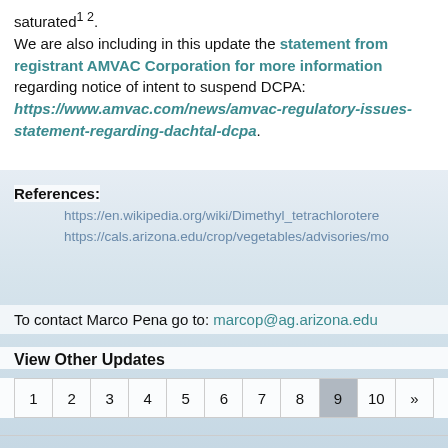saturated¹ ².
We are also including in this update the statement from registrant AMVAC Corporation for more information regarding notice of intent to suspend DCPA: https://www.amvac.com/news/amvac-regulatory-issues-statement-regarding-dachtal-dcpa.
References:
https://en.wikipedia.org/wiki/Dimethyl_tetrachlorotere...
https://cals.arizona.edu/crop/vegetables/advisories/mo...
To contact Marco Pena go to: marcop@ag.arizona.edu
View Other Updates
1 2 3 4 5 6 7 8 9 10 »